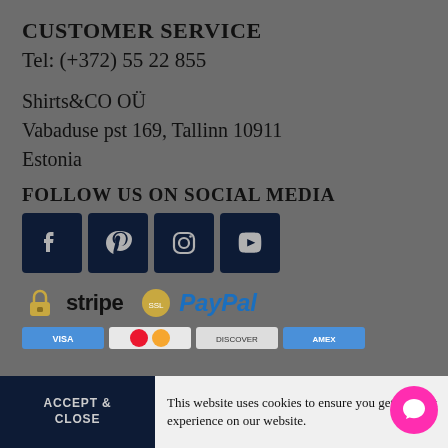CUSTOMER SERVICE
Tel: (+372) 55 22 855
Shirts&CO OÜ
Vabaduse pst 169, Tallinn 10911
Estonia
FOLLOW US ON SOCIAL MEDIA
[Figure (infographic): Four social media icon buttons: Facebook, Pinterest, Instagram, YouTube — dark navy square buttons with light icons]
[Figure (logo): Payment logos: lock icon + stripe text, gold badge + PayPal logo in blue italic]
[Figure (infographic): Credit/debit card logos row: Visa, Mastercard, and others]
ACCEPT & CLOSE
This website uses cookies to ensure you get the best experience on our website.